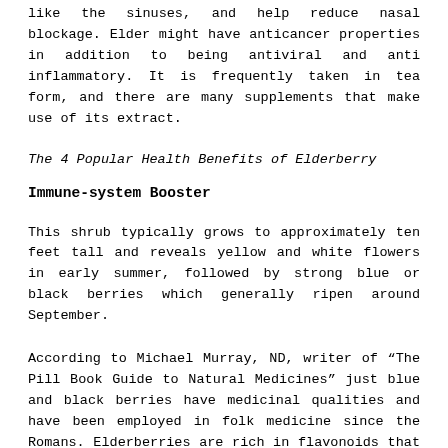like the sinuses, and help reduce nasal blockage. Elder might have anticancer properties in addition to being antiviral and anti inflammatory. It is frequently taken in tea form, and there are many supplements that make use of its extract.
The 4 Popular Health Benefits of Elderberry
Immune-system Booster
This shrub typically grows to approximately ten feet tall and reveals yellow and white flowers in early summer, followed by strong blue or black berries which generally ripen around September.
According to Michael Murray, ND, writer of “The Pill Book Guide to Natural Medicines” just blue and black berries have medicinal qualities and have been employed in folk medicine since the Romans. Elderberries are rich in flavonoids that are organic compounds with antioxidant qualities that safeguards cells against injury or infections. Elderberry also includes vitamin A, B, considerable quantities of vitamin C, and